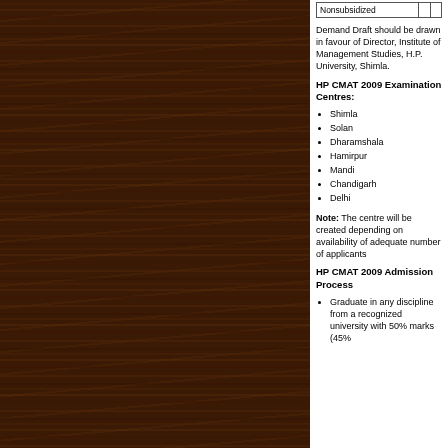| Nonsubsidized |  |  |
| --- | --- | --- |
Demand Draft should be drawn in favour of Director, Institute of Management Studies, H.P. University, Shimla.
HP CMAT 2009 Examination Centres:
Shimla
Solan
Dharamshala
Hamirpur
Mandi
Chandigarh
Delhi
Note: The centre will be created depending on availability of adequate number of applicants
HP CMAT 2009 Admission Process
Graduate in any discipline from a recognized university with 50% marks (45%